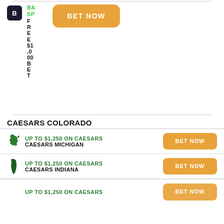[Figure (logo): Barstool Sports logo, dark circular badge with letter B]
BARSTOOL SPORTS FREE $1,000 BET
BET NOW
CAESARS COLORADO
[Figure (illustration): Michigan state silhouette in green]
UP TO $1,250 ON CAESARS
CAESARS MICHIGAN
BET NOW
[Figure (illustration): Indiana state silhouette in dark green]
UP TO $1,250 ON CAESARS
CAESARS INDIANA
BET NOW
UP TO $1,250 ON CAESARS